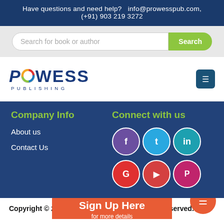Have questions and need help?  info@prowesspub.com, (+91) 903 219 3272
[Figure (screenshot): Search bar with placeholder 'Search for book or author' and green Search button]
[Figure (logo): Prowess Publishing logo with circular arrow icon]
Company Info
Connect with us
About us
Contact Us
[Figure (infographic): Six social media icon circles: purple Facebook, blue Twitter, teal LinkedIn, red Google, red YouTube, magenta Pinterest]
Copyright © 2022. Prowess P...eserved.
Sign Up Here
for more details